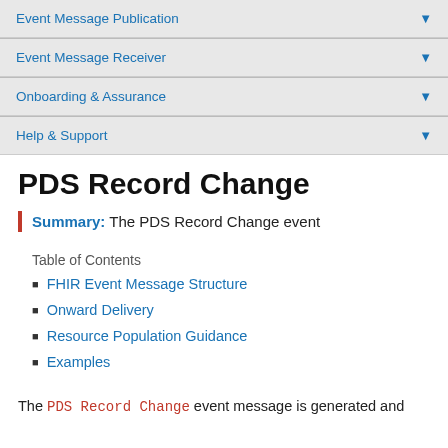Event Message Publication ▼
Event Message Receiver ▼
Onboarding & Assurance ▼
Help & Support ▼
PDS Record Change
Summary: The PDS Record Change event
Table of Contents
FHIR Event Message Structure
Onward Delivery
Resource Population Guidance
Examples
The PDS Record Change event message is generated and